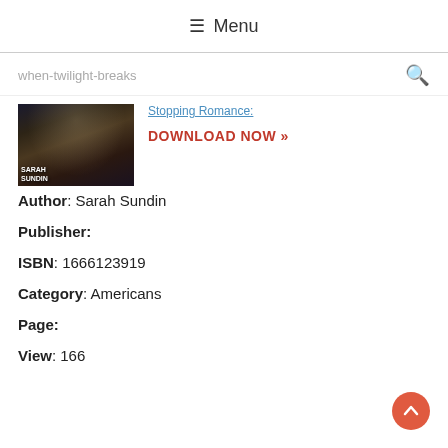☰ Menu
when-twilight-breaks
[Figure (photo): Book cover image for 'When Twilight Breaks' by Sarah Sundin — dark architectural background, figure in center]
Stopping Romance:
DOWNLOAD NOW »
Author: Sarah Sundin
Publisher:
ISBN: 1666123919
Category: Americans
Page:
View: 166